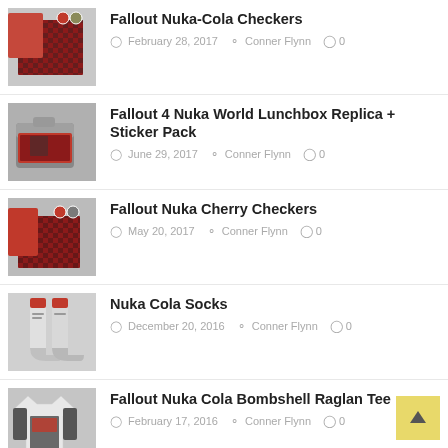Fallout Nuka-Cola Checkers
February 28, 2017  Conner Flynn  0
Fallout 4 Nuka World Lunchbox Replica + Sticker Pack
June 29, 2017  Conner Flynn  0
Fallout Nuka Cherry Checkers
May 20, 2017  Conner Flynn  0
Nuka Cola Socks
December 20, 2016  Conner Flynn  0
Fallout Nuka Cola Bombshell Raglan Tee
February 17, 2016  Conner Flynn  0